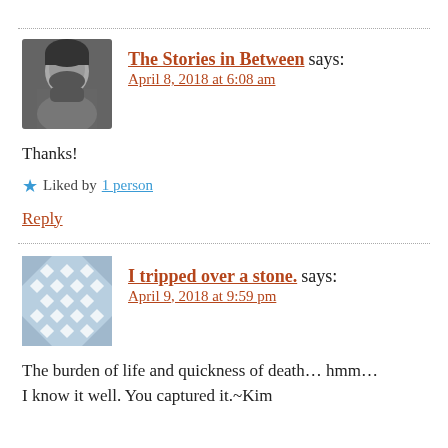[Figure (photo): Avatar photo of a man with beard, black and white photo]
The Stories in Between says:
April 8, 2018 at 6:08 am
Thanks!
Liked by 1 person
Reply
[Figure (illustration): Avatar illustration with blue diamond pattern]
I tripped over a stone. says:
April 9, 2018 at 9:59 pm
The burden of life and quickness of death... hmm... I know it well. You captured it.~Kim